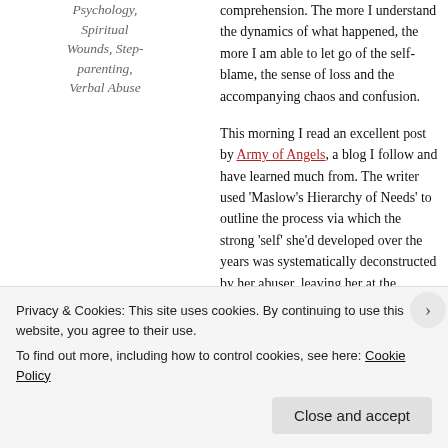Psychology, Spiritual Wounds, Step-parenting, Verbal Abuse
comprehension. The more I understand the dynamics of what happened, the more I am able to let go of the self-blame, the sense of loss and the accompanying chaos and confusion.
This morning I read an excellent post by Army of Angels, a blog I follow and have learned much from. The writer used ‘Maslow’s Hierarchy of Needs’ to outline the process via which the strong ‘self’ she’d developed over the years was systematically deconstructed by her abuser, leaving her at the bottom rung of the psychological ladder. Using her template, I’ve followed the events that led me
Privacy & Cookies: This site uses cookies. By continuing to use this website, you agree to their use.
To find out more, including how to control cookies, see here: Cookie Policy
Close and accept